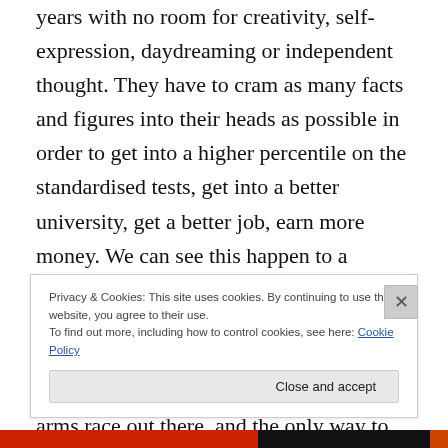years with no room for creativity, self-expression, daydreaming or independent thought. They have to cram as many facts and figures into their heads as possible in order to get into a higher percentile on the standardised tests, get into a better university, get a better job, earn more money. We can see this happen to a certain extent in the west, sometimes, but in China it's the only way. Even international schools just offer a more expensive version of the same deal. It's an arms race out there, and the only way to win it is not to take part. That's why we're
Privacy & Cookies: This site uses cookies. By continuing to use this website, you agree to their use.
To find out more, including how to control cookies, see here: Cookie Policy
Close and accept